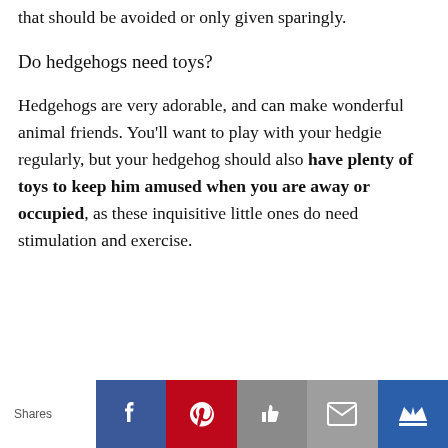that should be avoided or only given sparingly.
Do hedgehogs need toys?
Hedgehogs are very adorable, and can make wonderful animal friends. You'll want to play with your hedgie regularly, but your hedgehog should also have plenty of toys to keep him amused when you are away or occupied, as these inquisitive little ones do need stimulation and exercise.
Shares [Facebook] [Pinterest] [Like] [Email] [Crown]